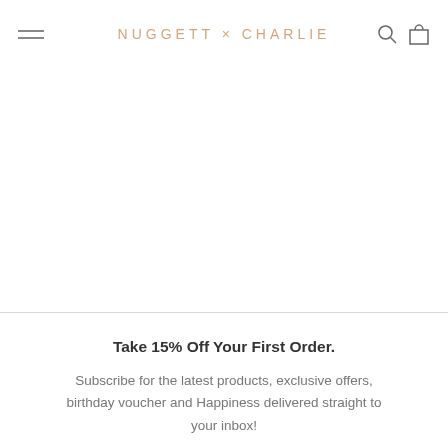NUGGETT × CHARLIE
Take 15% Off Your First Order. Subscribe for the latest products, exclusive offers, birthday voucher and Happiness delivered straight to your inbox!
Enter your email